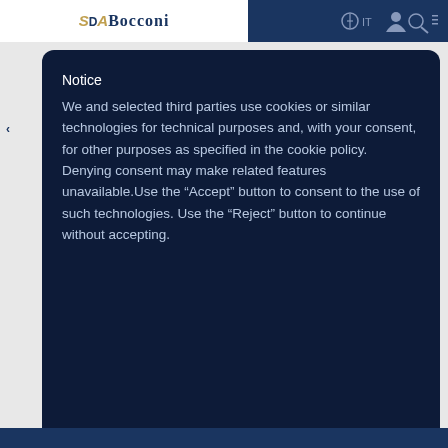[Figure (screenshot): SDA Bocconi website navigation bar with logo on white background left side and icons on dark blue right side]
Notice
We and selected third parties use cookies or similar technologies for technical purposes and, with your consent, for other purposes as specified in the cookie policy. Denying consent may make related features unavailable.Use the “Accept” button to consent to the use of such technologies. Use the “Reject” button to continue without accepting.
CUSTOMIZE
REJECT
ACCEPT
[Figure (logo): SDA B life logo in dark blue square box]
[Figure (other): Dark blue footer bar at bottom of page]